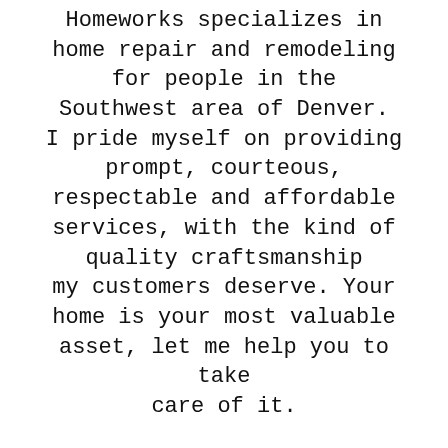Homeworks specializes in home repair and remodeling for people in the Southwest area of Denver. I pride myself on providing prompt, courteous, respectable and affordable services, with the kind of quality craftsmanship my customers deserve. Your home is your most valuable asset, let me help you to take care of it.

I understand that small